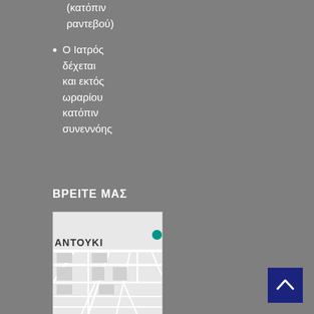(κατόπιν ραντεβού)
Ο Ιατρός δέχεται και εκτός ωραρίου κατόπιν συνεννόης
ΒΡΕΙΤΕ ΜΑΣ
[Figure (map): Street map showing location with label ΑΝΤΟΥΚΙ and a teal location marker]
[Figure (other): Blue back-to-top button with upward arrow]